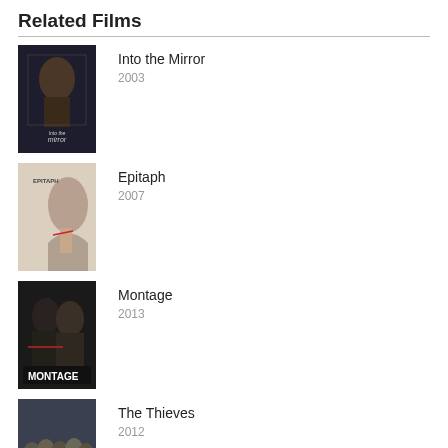Related Films
[Figure (photo): Movie poster for 'Into the Mirror' showing a man's face reflected in a mirror with 'Into the Mirror' text overlay]
Into the Mirror
2003
[Figure (photo): Movie poster for 'Epitaph' showing a woman's profile/neck with 'EPITAPH' text]
Epitaph
2007
[Figure (photo): Movie poster for 'Montage' showing two people with 'MONTAGE' text at bottom]
Montage
2013
[Figure (photo): Movie poster for 'The Thieves' showing a group of people]
The Thieves
2012